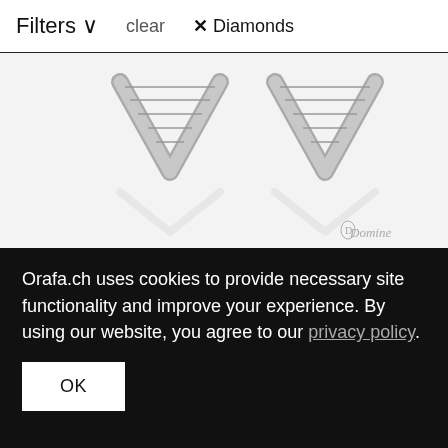Filters ∨    clear    ✕ Diamonds
[Figure (photo): Two diamond-encrusted earrings shaped like chevrons/V-shapes in white gold, shown on white/light gray background with a small script logo 'Domine' in bottom right corner]
Linee earrings with emeralds and diamonds
2'150 Fr
[Figure (photo): A dark silver ring with pink/purple gemstones set along the band, wishlist heart icon in top right corner]
[Figure (photo): Two thin gold pin/needle style earrings with small heart charm, wishlist heart icon in top right corner, shown on light gray background]
Orafa.ch uses cookies to provide necessary site functionality and improve your experience. By using our website, you agree to our privacy policy.
OK